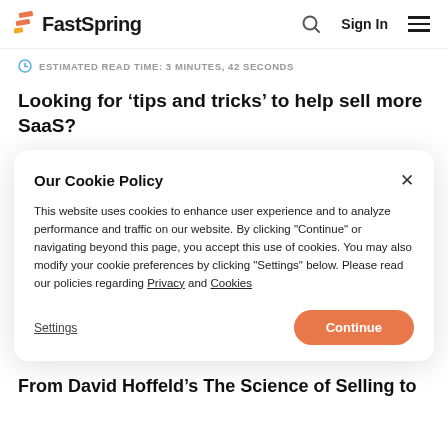FastSpring
ESTIMATED READ TIME: 3 MINUTES, 42 SECONDS
Looking for ‘tips and tricks’ to help sell more SaaS?
Our Cookie Policy
This website uses cookies to enhance user experience and to analyze performance and traffic on our website. By clicking "Continue" or navigating beyond this page, you accept this use of cookies. You may also modify your cookie preferences by clicking "Settings" below. Please read our policies regarding Privacy and Cookies
From David Hoffeld’s The Science of Selling to